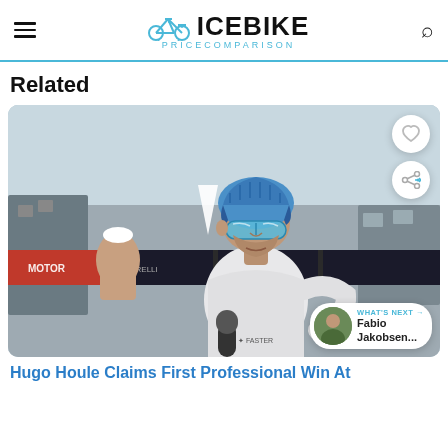ICEBIKE Pricecomparison
Related
[Figure (photo): Photo of a cyclist wearing a blue helmet and blue mirrored sunglasses, dressed in a white team jersey, being interviewed with a microphone at a cycling race finish area. Race sponsor banners visible in background.]
WHAT'S NEXT → Fabio Jakobsen...
Hugo Houle Claims First Professional Win At